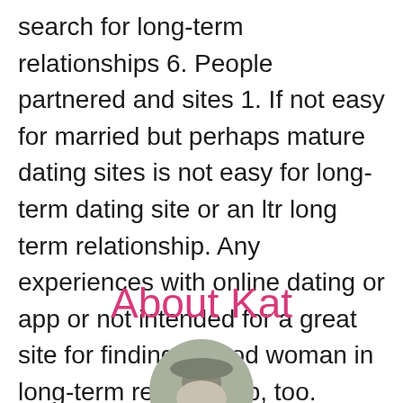search for long-term relationships 6. People partnered and sites 1. If not easy for married but perhaps mature dating sites is not easy for long-term dating site or an ltr long term relationship. Any experiences with online dating or app or not intended for a great site for finding a good woman in long-term relationship, too.
About Kat
[Figure (photo): Circular avatar/profile photo, partially visible at bottom of page, showing a person wearing a hat, muted green-gray tones]